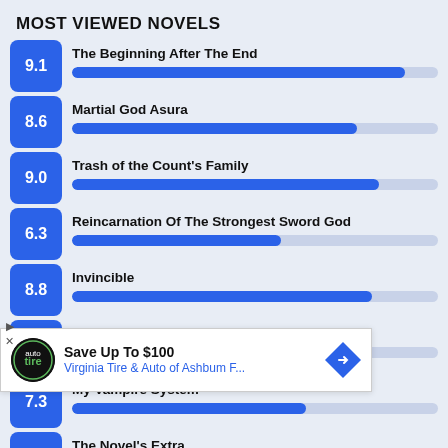MOST VIEWED NOVELS
[Figure (bar-chart): Most Viewed Novels]